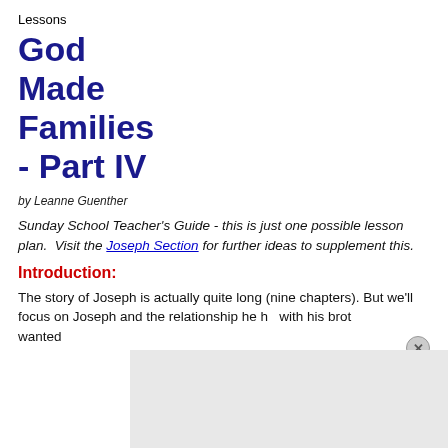Lessons
God Made Families - Part IV
by Leanne Guenther
Sunday School Teacher's Guide - this is just one possible lesson plan. Visit the Joseph Section for further ideas to supplement this.
Introduction:
The story of Joseph is actually quite long (nine chapters). But we'll focus on Joseph and the relationship he h... with his brot... wanted